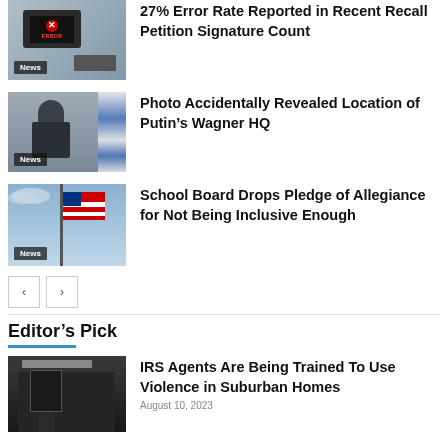[Figure (photo): Laptop with ERROR message on screen, hands visible, news thumbnail]
27% Error Rate Reported in Recent Recall Petition Signature Count
[Figure (photo): Man in suit (Putin) standing in front of flags, news thumbnail]
Photo Accidentally Revealed Location of Putin’s Wagner HQ
[Figure (photo): American flag waving against cloudy sky, news thumbnail]
School Board Drops Pledge of Allegiance for Not Being Inclusive Enough
Editor’s Pick
[Figure (photo): IRS building storefront at night, news thumbnail]
IRS Agents Are Being Trained To Use Violence in Suburban Homes